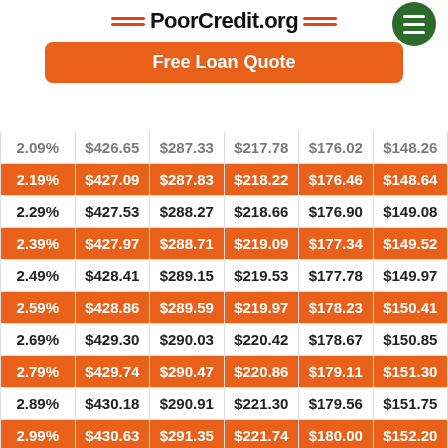PoorCredit.org — Free Loan Quote
| Rate | 12 mo | 24 mo | 36 mo | 48 mo | 60 mo |
| --- | --- | --- | --- | --- | --- |
| 2.09% | $426.65 | $287.33 | $217.78 | $176.02 | $148.26 |
| 2.19% | $427.09 | $287.83 | $218.22 | $176.46 | $148.64 |
| 2.29% | $427.53 | $288.27 | $218.66 | $176.90 | $149.08 |
| 2.39% | $427.97 | $288.71 | $219.09 | $177.34 | $149.52 |
| 2.49% | $428.41 | $289.15 | $219.53 | $177.78 | $149.97 |
| 2.59% | $428.86 | $289.59 | $219.97 | $178.23 | $150.41 |
| 2.69% | $429.30 | $290.03 | $220.42 | $178.67 | $150.85 |
| 2.79% | $429.74 | $290.47 | $220.86 | $179.11 | $151.30 |
| 2.89% | $430.18 | $290.91 | $221.30 | $179.56 | $151.75 |
| 2.99% | $430.63 | $291.35 | $221.74 | $180.00 | $152.20 |
| 3.09% | $431.07 | $291.79 | $222.18 | $180.45 | $152.64 |
| 3.19% | $431.51 | $292.23 | $222.63 | $180.89 | $153.09 |
| 3.29% | $431.96 | $292.68 | $223.07 | $181.34 | $153.54 |